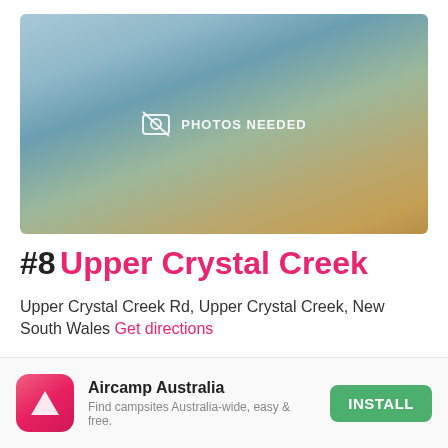[Figure (photo): Blurred outdoor landscape photo placeholder with 'PHOTOS NEEDED' overlay text and camera icon]
#8 Upper Crystal Creek
Upper Crystal Creek Rd, Upper Crystal Creek, New South Wales Get directions
✓ Pets Allowed
[Figure (logo): Aircamp Australia app install banner with pink/red app icon showing a tent triangle, app name 'Aircamp Australia', subtitle 'Find campsites Australia-wide, easy & free.', and green INSTALL button]